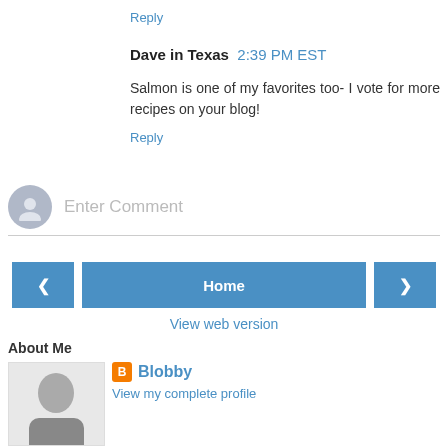Reply
Dave in Texas  2:39 PM EST
Salmon is one of my favorites too- I vote for more recipes on your blog!
Reply
Enter Comment
Home
View web version
About Me
Blobby
View my complete profile